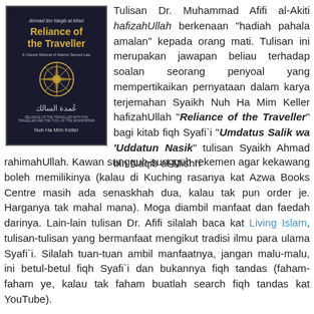[Figure (photo): Book cover of 'Reliance of the Traveller' by Nuh Ha Mim Keller, dark navy blue cover with gold ornamental emblem and Arabic calligraphy.]
Tulisan Dr. Muhammad Afifi al-Akiti hafizahUllah berkenaan "hadiah pahala amalan" kepada orang mati. Tulisan ini merupakan jawapan beliau terhadap soalan seorang penyoal yang mempertikaikan pernyataan dalam karya terjemahan Syaikh Nuh Ha Mim Keller hafizahUllah "Reliance of the Traveller" bagi kitab fiqh Syafi`i "Umdatus Salik wa 'Uddatun Nasik" tulisan Syaikh Ahmad bin Naqib al-Mishri rahimahUllah. Kawan sungguh-sungguh rekemen agar kekawang boleh memilikinya (kalau di Kuching rasanya kat Azwa Books Centre masih ada senaskhah dua, kalau tak pun order je. Harganya tak mahal mana). Moga diambil manfaat dan faedah darinya. Lain-lain tulisan Dr. Afifi silalah baca kat Living Islam, tulisan-tulisan yang bermanfaat mengikut tradisi ilmu para ulama Syafi`i. Silalah tuan-tuan ambil manfaatnya, jangan malu-malu, ini betul-betul fiqh Syafi`i dan bukannya fiqh tandas (faham-faham ye, kalau tak faham buatlah search fiqh tandas kat YouTube).